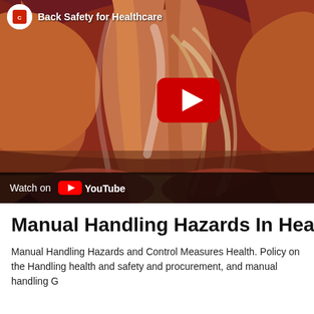[Figure (screenshot): YouTube video thumbnail showing anatomical back muscles illustration with YouTube play button overlay. Top bar shows channel logo and 'Back Safety for Healthcare' title. Bottom bar shows 'Watch on YouTube' with YouTube logo.]
Manual Handling Hazards In Healthcare
Manual Handling Hazards and Control Measures Health. Policy on the Handling health and safety and procurement, and manual handling G